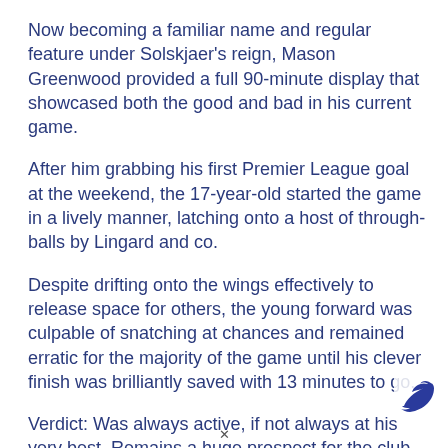Now becoming a familiar name and regular feature under Solskjaer's reign, Mason Greenwood provided a full 90-minute display that showcased both the good and bad in his current game.
After him grabbing his first Premier League goal at the weekend, the 17-year-old started the game in a lively manner, latching onto a host of through-balls by Lingard and co.
Despite drifting onto the wings effectively to release space for others, the young forward was culpable of snatching at chances and remained erratic for the majority of the game until his clever finish was brilliantly saved with 13 minutes to go.
Verdict: Was always active, if not always at his very best. Remains a huge prospect for the club.
[Figure (logo): Small blue bird/logo icon in bottom-right corner]